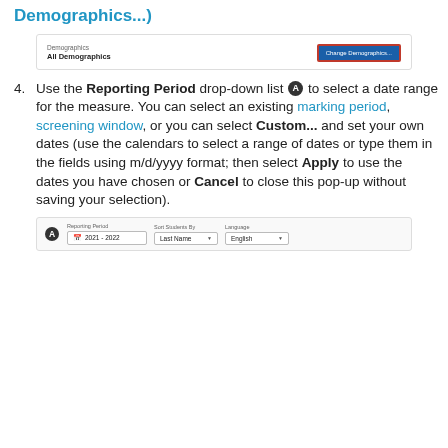Demographics...)
[Figure (screenshot): Screenshot showing a Demographics section with 'All Demographics' label and a blue 'Change Demographics...' button with a red border highlight on the right side.]
Use the Reporting Period drop-down list (A) to select a date range for the measure. You can select an existing marking period, screening window, or you can select Custom... and set your own dates (use the calendars to select a range of dates or type them in the fields using m/d/yyyy format; then select Apply to use the dates you have chosen or Cancel to close this pop-up without saving your selection).
[Figure (screenshot): Screenshot of the bottom UI showing a Reporting Period field with '2021-2022', Sort Students By field with 'Last Name', and Language field with 'English'. A circle-A marker is on the left.]